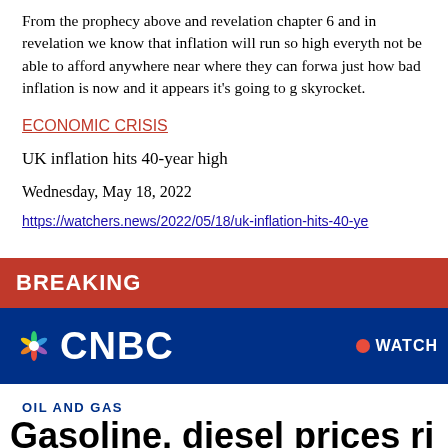From the prophecy above and revelation chapter 6 and in revelation we know that inflation will run so high everything not be able to afford anywhere near where they can forward just how bad inflation is now and it appears it's going to skyrocket.
ECONOMIC CRISIS
UK inflation hits 40-year high
Wednesday, May 18, 2022
https://watchers.news/2022/05/18/uk-inflation-hits-40-ye...
[Figure (screenshot): CNBC Breaking News banner with red BREAKING bar at top and blue CNBC logo bar below with WATCH LIVE button]
OIL AND GAS
Gasoline, diesel prices ri...